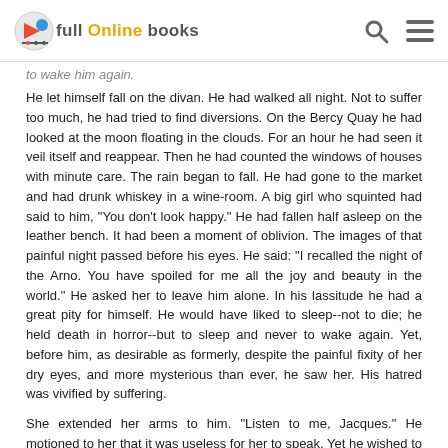Full Online Books
to wake him again.
He let himself fall on the divan. He had walked all night. Not to suffer too much, he had tried to find diversions. On the Bercy Quay he had looked at the moon floating in the clouds. For an hour he had seen it veil itself and reappear. Then he had counted the windows of houses with minute care. The rain began to fall. He had gone to the market and had drunk whiskey in a wine-room. A big girl who squinted had said to him, "You don't look happy." He had fallen half asleep on the leather bench. It had been a moment of oblivion. The images of that painful night passed before his eyes. He said: "I recalled the night of the Arno. You have spoiled for me all the joy and beauty in the world." He asked her to leave him alone. In his lassitude he had a great pity for himself. He would have liked to sleep--not to die; he held death in horror--but to sleep and never to wake again. Yet, before him, as desirable as formerly, despite the painful fixity of her dry eyes, and more mysterious than ever, he saw her. His hatred was vivified by suffering.
She extended her arms to him. "Listen to me, Jacques." He motioned to her that it was useless for her to speak. Yet he wished to listen to her, and already he was listening with avidity. He detested and rejected in advance what she would say, but nothing else in the world interested him.
She said:
"You may have believed I was betraying you, that I was not living for you alone. But can you not understand anything? You do not see that if that man were my lover it would not have been necessary for him to talk to me at the play-house in that box; he would have a thousand other ways of meeting me. Oh, no, my friend, I assure you that since the day when I had the burning joy to meet you, I have been romantic. Could I be...